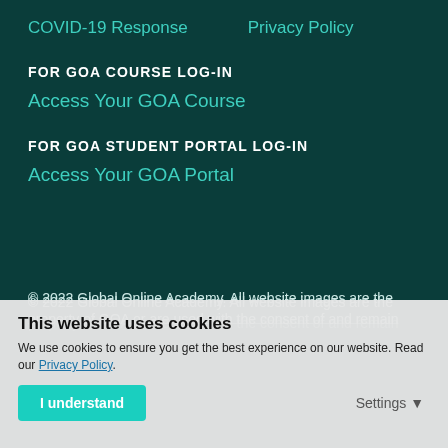COVID-19 Response
Privacy Policy
FOR GOA COURSE LOG-IN
Access Your GOA Course
FOR GOA STUDENT PORTAL LOG-IN
Access Your GOA Portal
© 2022 Global Online Academy. All website images are the property of GOA or are used with the consent of and remain
This website uses cookies
We use cookies to ensure you get the best experience on our website. Read our Privacy Policy.
I understand    Settings